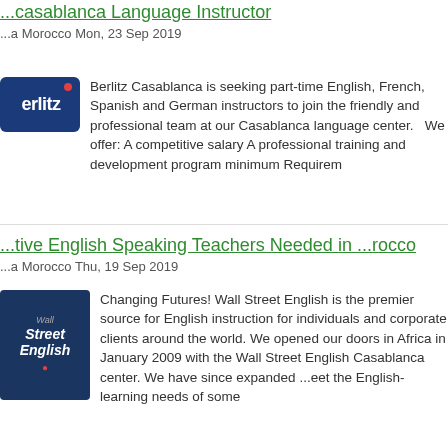...casablanca Language Instructor
...a Morocco Mon, 23 Sep 2019
Berlitz Casablanca is seeking part-time English, French, Spanish and German instructors to join the friendly and professional team at our Casablanca language center.   We offer: A competitive salary A professional training and development program minimum Requirem
...tive English Speaking Teachers Needed in ...rocco
...a Morocco Thu, 19 Sep 2019
Changing Futures! Wall Street English is the premier source for English instruction for individuals and corporate clients around the world. We opened our doors in Africa in January 2009 with the Wall Street English Casablanca center. We have since expanded ...eet the English-learning needs of some